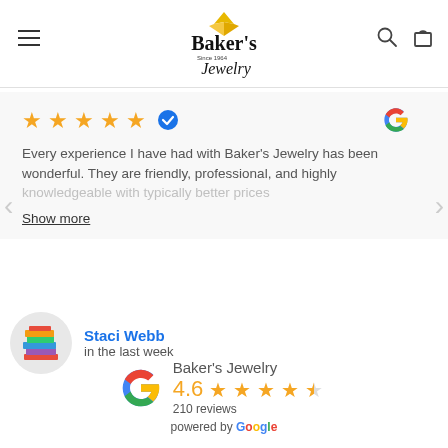[Figure (logo): Baker's Jewelry logo with crown/diamond icon and cursive text 'Since 1964 Jewelry']
Every experience I have had with Baker's Jewelry has been wonderful. They are friendly, professional, and highly knowledgeable with typically better prices
Show more
[Figure (photo): Reviewer profile photo showing a stack of colorful books]
Staci Webb
in the last week
Baker's Jewelry
4.6 ★★★★½
210 reviews
powered by Google